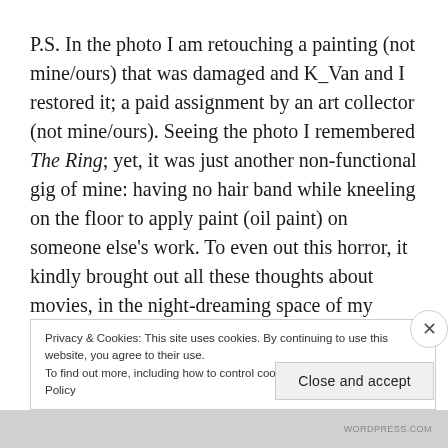P.S. In the photo I am retouching a painting (not mine/ours) that was damaged and K_Van and I restored it; a paid assignment by an art collector (not mine/ours). Seeing the photo I remembered The Ring; yet, it was just another non-functional gig of mine: having no hair band while kneeling on the floor to apply paint (oil paint) on someone else's work. To even out this horror, it kindly brought out all these thoughts about movies, in the night-dreaming space of my mind.
Privacy & Cookies: This site uses cookies. By continuing to use this website, you agree to their use.
To find out more, including how to control cookies, see here: Cookie Policy
Close and accept